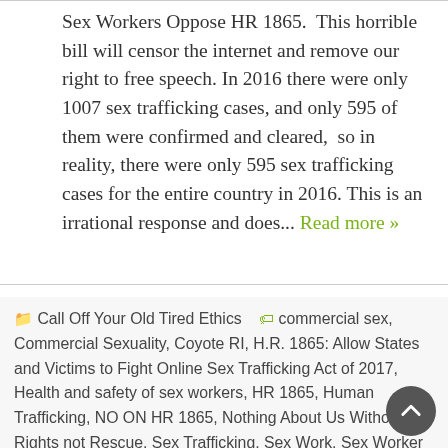Sex Workers Oppose HR 1865.  This horrible bill will censor the internet and remove our right to free speech. In 2016 there were only 1007 sex trafficking cases, and only 595 of them were confirmed and cleared,  so in reality, there were only 595 sex trafficking cases for the entire country in 2016. This is an irrational response and does... Read more »
Call Off Your Old Tired Ethics   commercial sex, Commercial Sexuality, Coyote RI, H.R. 1865: Allow States and Victims to Fight Online Sex Trafficking Act of 2017, Health and safety of sex workers, HR 1865, Human Trafficking, NO ON HR 1865, Nothing About Us Without Us, Rights not Rescue, Sex Trafficking, Sex Work, Sex Worker Rights, Sex Worker Rights Are Human Rights, Sex